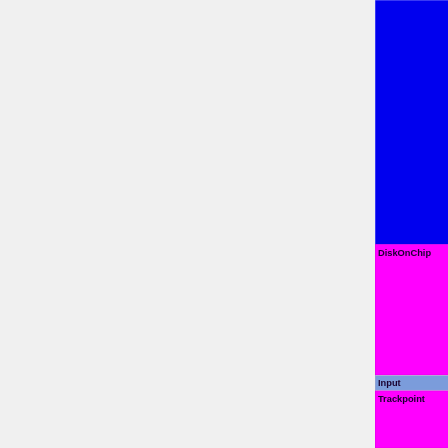[Figure (table-as-image): Partial view of a hardware compatibility/status table with colored cells. Shows a large blue block at top, a magenta DiskOnChip row with status text partially visible, a blue Input header row, and a magenta Trackpoint row. Right column shows status legend text: OK=lime | TODO=red | No=red | WIP=orange | Untested=yellow | N/A=lightgray | yellow }}° | N/...]
DiskOnChip
OK=lime | TODO=red | No=red | WIP=orange | Untested=yellow | N/A=lightgray | yellow }}° | N/...
Input
Trackpoint
OK=lime | TODO=red | No=red